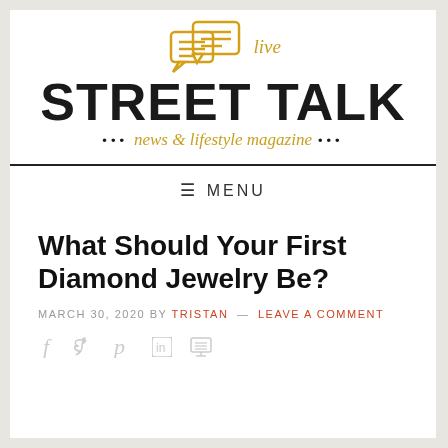[Figure (logo): Street Talk Live news & lifestyle magazine logo with chat bubble icons in gold/orange outline, bold black STREET TALK text, and gold italic tagline]
≡ MENU
What Should Your First Diamond Jewelry Be?
MARCH 30, 2020 BY TRISTAN — LEAVE A COMMENT
[Figure (infographic): Social share icons: f (Facebook), Twitter bird, Pinterest P, LinkedIn in, printer icon]